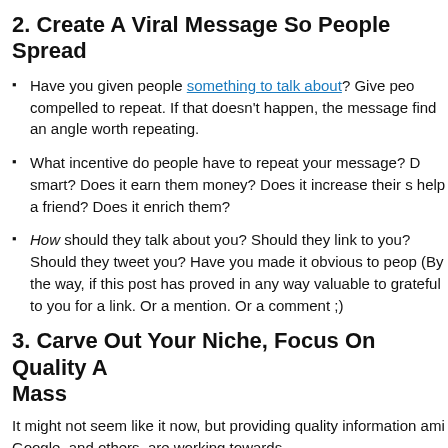2. Create A Viral Message So People Spread
Have you given people something to talk about? Give people something they feel compelled to repeat. If that doesn't happen, the message needs work. Help people find an angle worth repeating.
What incentive do people have to repeat your message? Does it make them look smart? Does it earn them money? Does it increase their status? Does it help them help a friend? Does it enrich them?
How should they talk about you? Should they link to you? Should they share this? Should they tweet you? Have you made it obvious to people how to spread it? (By the way, if this post has proved in any way valuable to you, I would be grateful to you for a link. Or a mention. Or a comment ;)
3. Carve Out Your Niche, Focus On Quality A Mass
It might not seem like it now, but providing quality information amid Google, and others, are working towards.
Ultimately, Google, or any knowledge management tool, must retu information in order to survive as the aggregator of choice. "Suffic